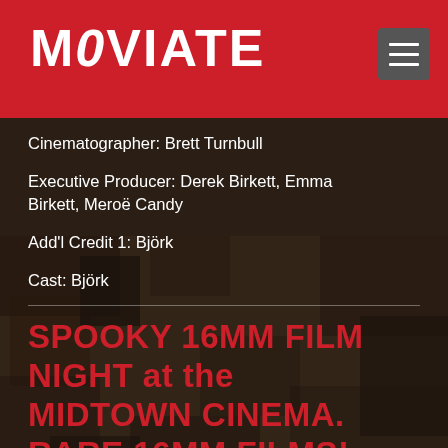MOVIATE
Cinematographer: Brett Turnbull
Executive Producer: Derek Birkett, Emma Birkett, Meroë Candy
Add'l Credit 1: Björk
Cast: Björk
SPOOKY 16MM FILM NIGHT at the MIDTOWN CINEMA. RARE 16mm FILMS! Sun. Oct 26th 7:30p